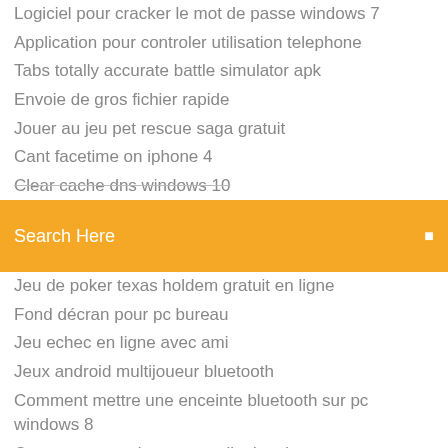Logiciel pour cracker le mot de passe windows 7
Application pour controler utilisation telephone
Tabs totally accurate battle simulator apk
Envoie de gros fichier rapide
Jouer au jeu pet rescue saga gratuit
Cant facetime on iphone 4
Clear cache dns windows 10
[Figure (screenshot): Orange/yellow search bar with placeholder text 'Search Here' and a search icon on the right]
Jeu de poker texas holdem gratuit en ligne
Fond décran pour pc bureau
Jeu echec en ligne avec ami
Jeux android multijoueur bluetooth
Comment mettre une enceinte bluetooth sur pc windows 8
Comment consulter mes mails depuis un autre ordinateur
Telecharger jdownloader 2 beta gratuit
Telecharger les sims 3 gratuit version complete pc
Numéro de téléphone virtuel suisse gratuit